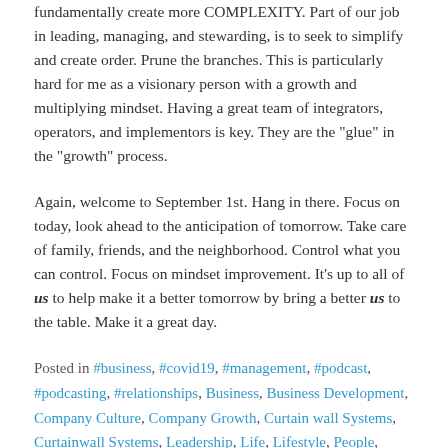fundamentally create more COMPLEXITY. Part of our job in leading, managing, and stewarding, is to seek to simplify and create order. Prune the branches. This is particularly hard for me as a visionary person with a growth and multiplying mindset. Having a great team of integrators, operators, and implementors is key. They are the "glue" in the "growth" process.
Again, welcome to September 1st. Hang in there. Focus on today, look ahead to the anticipation of tomorrow. Take care of family, friends, and the neighborhood. Control what you can control. Focus on mindset improvement. It's up to all of us to help make it a better tomorrow by bring a better us to the table. Make it a great day.
Posted in #business, #covid19, #management, #podcast, #podcasting, #relationships, Business, Business Development, Company Culture, Company Growth, Curtain wall Systems, Curtainwall Systems, Leadership, Life, Lifestyle, People, remote